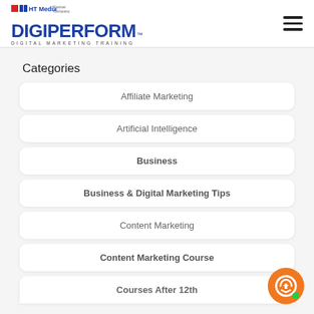[Figure (logo): DigiPerform logo with HT Media Partner Company branding and hamburger menu icon]
Categories
Affiliate Marketing
Artificial Intelligence
Business
Business & Digital Marketing Tips
Content Marketing
Content Marketing Course
Courses After 12th